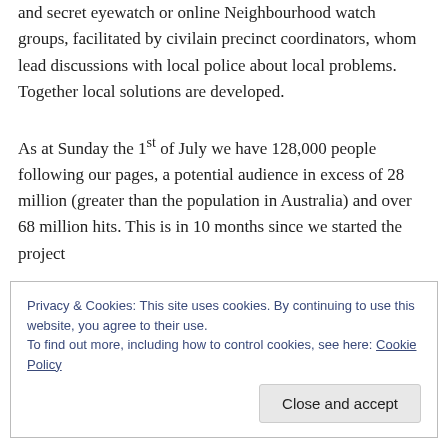and secret eyewatch or online Neighbourhood watch groups, facilitated by civilain precinct coordinators, whom lead discussions with local police about local problems. Together local solutions are developed.

As at Sunday the 1st of July we have 128,000 people following our pages, a potential audience in excess of 28 million (greater than the population in Australia) and over 68 million hits. This is in 10 months since we started the project
Privacy & Cookies: This site uses cookies. By continuing to use this website, you agree to their use.
To find out more, including how to control cookies, see here: Cookie Policy